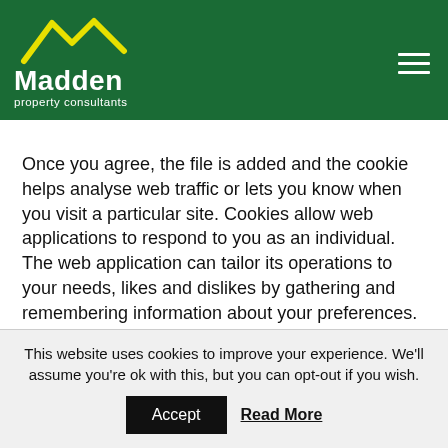[Figure (logo): Madden property consultants logo: yellow house/mountain outline icon above white bold text 'Madden' and lighter text 'property consultants', on dark green background header with hamburger menu icon on right]
Once you agree, the file is added and the cookie helps analyse web traffic or lets you know when you visit a particular site. Cookies allow web applications to respond to you as an individual. The web application can tailor its operations to your needs, likes and dislikes by gathering and remembering information about your preferences.
This website uses cookies to improve your experience. We'll assume you're ok with this, but you can opt-out if you wish.
Accept   Read More